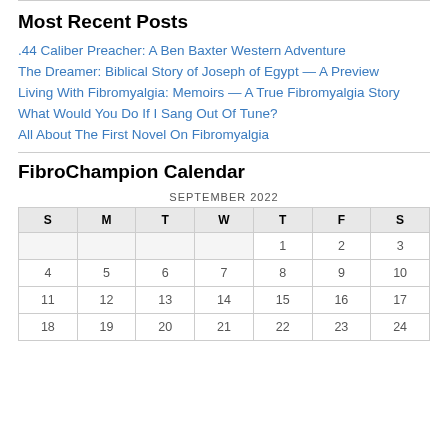Most Recent Posts
.44 Caliber Preacher: A Ben Baxter Western Adventure
The Dreamer: Biblical Story of Joseph of Egypt — A Preview
Living With Fibromyalgia: Memoirs — A True Fibromyalgia Story
What Would You Do If I Sang Out Of Tune?
All About The First Novel On Fibromyalgia
FibroChampion Calendar
| S | M | T | W | T | F | S |
| --- | --- | --- | --- | --- | --- | --- |
|  |  |  |  | 1 | 2 | 3 |
| 4 | 5 | 6 | 7 | 8 | 9 | 10 |
| 11 | 12 | 13 | 14 | 15 | 16 | 17 |
| 18 | 19 | 20 | 21 | 22 | 23 | 24 |